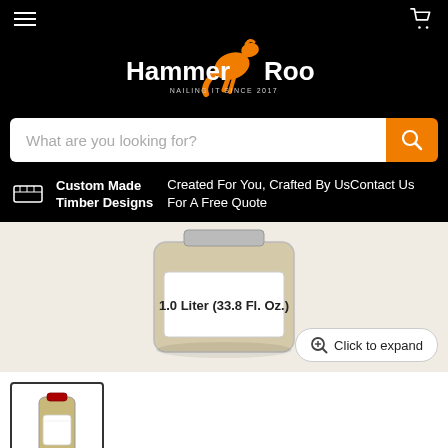[Figure (logo): HammerRoo logo with orange kangaroo and white text on black background]
What are you looking for?
Custom Made Timber Designs — Created For You, Crafted By UsContact Us For A Free Quote
[Figure (photo): Product bottle showing 1.0 Liter (33.8 Fl. Oz.) label on white/cream background]
Click to expand
[Figure (photo): Small thumbnail of the cleaning wax product bottle]
3029 LIQUID CLEANING WAX 1L